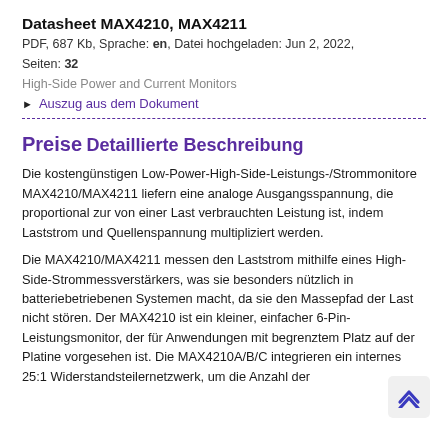Datasheet MAX4210, MAX4211
PDF, 687 Kb, Sprache: en, Datei hochgeladen: Jun 2, 2022, Seiten: 32
High-Side Power and Current Monitors
▶ Auszug aus dem Dokument
Preise
Detaillierte Beschreibung
Die kostengünstigen Low-Power-High-Side-Leistungs-/Strommonitore MAX4210/MAX4211 liefern eine analoge Ausgangsspannung, die proportional zur von einer Last verbrauchten Leistung ist, indem Laststrom und Quellenspannung multipliziert werden.
Die MAX4210/MAX4211 messen den Laststrom mithilfe eines High-Side-Strommessverstärkers, was sie besonders nützlich in batteriebetriebenen Systemen macht, da sie den Massepfad der Last nicht stören. Der MAX4210 ist ein kleiner, einfacher 6-Pin-Leistungsmonitor, der für Anwendungen mit begrenztem Platz auf der Platine vorgesehen ist. Die MAX4210A/B/C integrieren ein internes 25:1 Widerstandsteilernetzwerk, um die Anzahl der